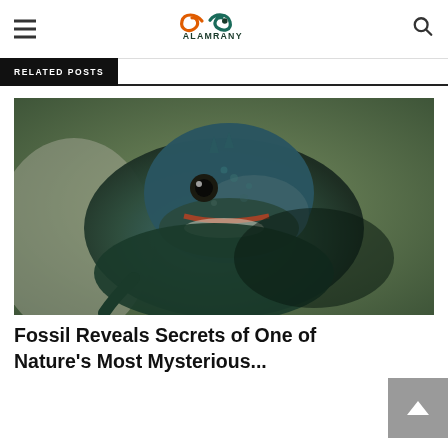ALAMRANY
RELATED POSTS
[Figure (photo): Close-up photograph of a lizard (tuatara-like reptile) with blue-green scaly skin, looking at the camera, resting on a log with a blurred natural background.]
Fossil Reveals Secrets of One of Nature's Most Mysterious...